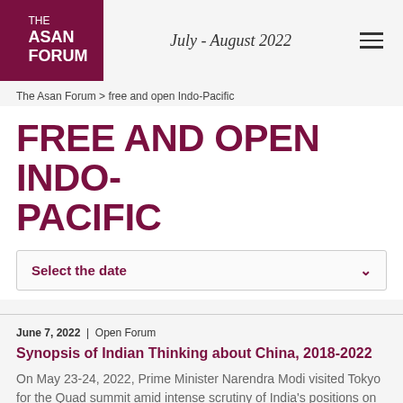THE ASAN FORUM | July - August 2022
The Asan Forum > free and open Indo-Pacific
FREE AND OPEN INDO-PACIFIC
Select the date
June 7, 2022 | Open Forum
Synopsis of Indian Thinking about China, 2018-2022
On May 23-24, 2022, Prime Minister Narendra Modi visited Tokyo for the Quad summit amid intense scrutiny of India's positions on the Ukraine War (then starting its fourth […]